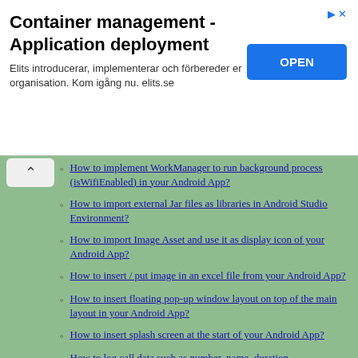[Figure (screenshot): Advertisement banner for Elits container management and application deployment service with an OPEN button]
How to implement WorkManager to run background process (isWifiEnabled) in your Android App?
How to import external Jar files as libraries in Android Studio Environment?
How to import Image Asset and use it as display icon of your Android App?
How to insert / put image in an excel file from your Android App?
How to insert floating pop-up window layout on top of the main layout in your Android App?
How to insert splash screen at the start of your Android App?
How to log call data such as number, name, duration, type(incoming or